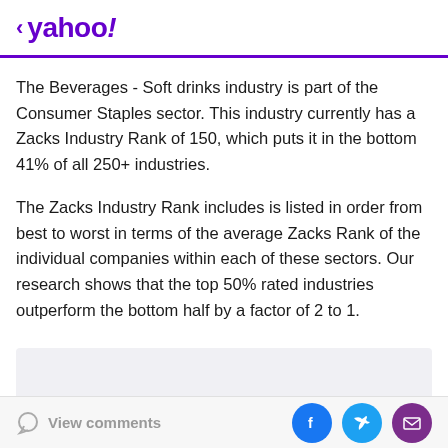< yahoo!
The Beverages - Soft drinks industry is part of the Consumer Staples sector. This industry currently has a Zacks Industry Rank of 150, which puts it in the bottom 41% of all 250+ industries.
The Zacks Industry Rank includes is listed in order from best to worst in terms of the average Zacks Rank of the individual companies within each of these sectors. Our research shows that the top 50% rated industries outperform the bottom half by a factor of 2 to 1.
[Figure (other): Gray placeholder box]
View comments | Facebook | Twitter | Mail